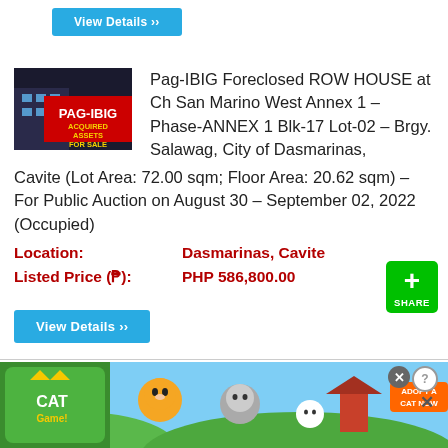[Figure (screenshot): Blue 'View Details' button from previous listing (partially visible at top)]
[Figure (photo): Pag-IBIG Acquired Assets For Sale logo/banner image in red and dark]
Pag-IBIG Foreclosed ROW HOUSE at Ch San Marino West Annex 1 – Phase-ANNEX 1 Blk-17 Lot-02 – Brgy. Salawag, City of Dasmarinas, Cavite (Lot Area: 72.00 sqm; Floor Area: 20.62 sqm) – For Public Auction on August 30 – September 02, 2022 (Occupied)
Location:   Dasmarinas, Cavite
Listed Price (₱):   PHP 586,800.00
[Figure (screenshot): Blue 'View Details >>' button]
[Figure (screenshot): Green '+' Share button]
[Figure (photo): Second Pag-IBIG listing image (partially visible)]
Pag-IBIG Foreclosed ROW HOUSE at Ch San
[Figure (screenshot): Cat game advertisement banner — 'ADOPT A CAT NOW']